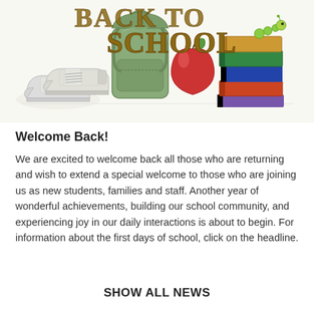[Figure (illustration): Back to School illustration with sneakers, green backpack, red apple, and stacked books with a worm, along with decorative 'BACK TO SCHOOL' lettering]
Welcome Back!
We are excited to welcome back all those who are returning and wish to extend a special welcome to those who are joining us as new students, families and staff. Another year of wonderful achievements, building our school community, and experiencing joy in our daily interactions is about to begin. For information about the first days of school, click on the headline.
SHOW ALL NEWS